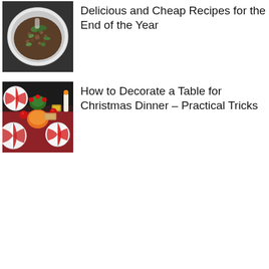[Figure (photo): Top-down photo of a white bowl containing a grain or lentil salad dish with green vegetables on a dark background]
Delicious and Cheap Recipes for the End of the Year
[Figure (photo): Top-down photo of a Christmas dinner table with red and white striped plates, candles, holiday decorations, and food dishes]
How to Decorate a Table for Christmas Dinner – Practical Tricks